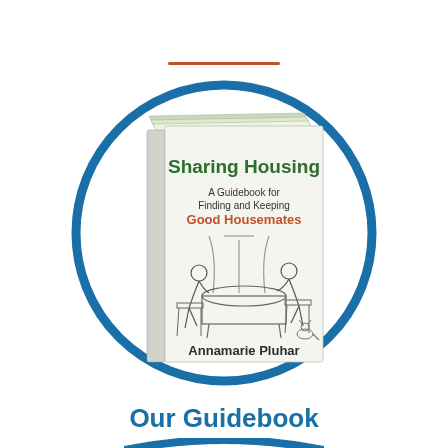[Figure (illustration): A circular blue border containing an illustration of the book cover 'Sharing Housing: A Guidebook for Finding and Keeping Good Housemates' by Annamarie Pluhar. The book cover shows the title in dark green, subtitle in black, 'Good Housemates' in orange, and a line drawing of people sitting around a table. There is an orange horizontal rule above the circle.]
Our Guidebook